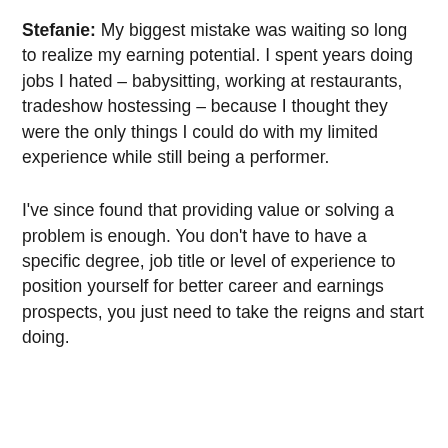Stefanie: My biggest mistake was waiting so long to realize my earning potential. I spent years doing jobs I hated – babysitting, working at restaurants, tradeshow hostessing – because I thought they were the only things I could do with my limited experience while still being a performer.
I've since found that providing value or solving a problem is enough. You don't have to have a specific degree, job title or level of experience to position yourself for better career and earnings prospects, you just need to take the reigns and start doing.